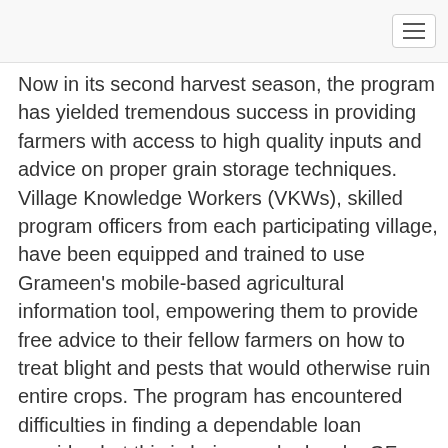Now in its second harvest season, the program has yielded tremendous success in providing farmers with access to high quality inputs and advice on proper grain storage techniques. Village Knowledge Workers (VKWs), skilled program officers from each participating village, have been equipped and trained to use Grameen's mobile-based agricultural information tool, empowering them to provide free advice to their fellow farmers on how to treat blight and pests that would otherwise ruin entire crops. The program has encountered difficulties in finding a dependable loan provider, but this is being worked on by GF staff and should hopefully be incorporated into the program by the end of 2014.
On the first day of our trip to the field, we held a marathon 6-hour strategy meeting with staff from Farm Concern International (FCI), our implementing partner for the program. We discussed the successes and the challenges of the program, and went over the agenda for the next day's training